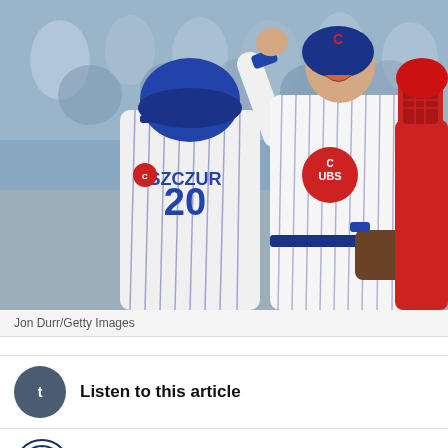[Figure (photo): Two Chicago Cubs baseball players (one wearing jersey number 20 SZCZUR) celebrating at home plate, high-fiving. A catcher in red uniform is visible on the right. Crowd in the background.]
Jon Durr/Getty Images
Listen to this article
[Figure (logo): Site logo - circular badge with buffalo/bison illustration]
[Figure (logo): Twitter bird icon and Facebook f icon for social sharing]